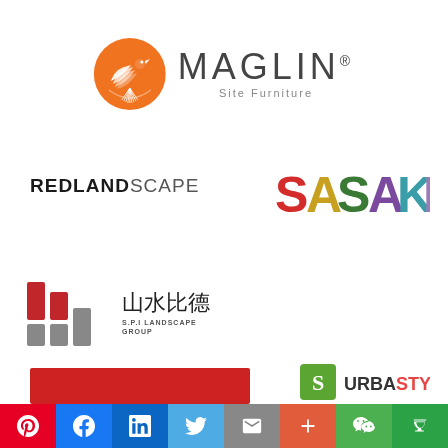[Figure (logo): Maglin Site Furniture logo — orange phoenix circle icon with MAGLIN text and 'Site Furniture' tagline]
[Figure (logo): REDLANDSCAPE logo in bold black and grey uppercase text]
[Figure (logo): SASAKI logo in multicolor letters (red, gold, green, purple, teal gradient)]
[Figure (logo): SPI Landscape Group logo with red and grey bar chart icon and Chinese characters 山水比德]
[Figure (logo): STOSS logo in large red rotated vertical text]
[Figure (logo): Partial red bar logo at bottom left]
[Figure (logo): Partial URBASTYLE logo at bottom right]
[Figure (infographic): Social media share bar at the bottom: Pinterest, Facebook, LinkedIn, Twitter, Email, Plus, WeChat, Douban]